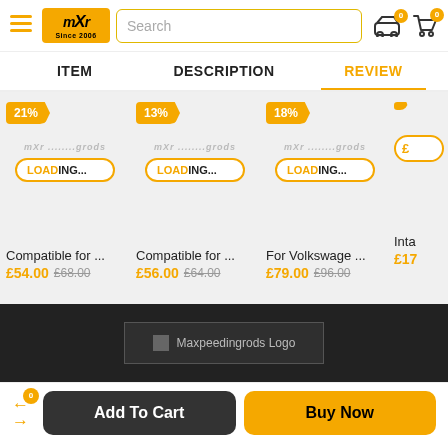[Figure (screenshot): mXr Since 2006 logo with search bar, car icon and cart icon in website header]
ITEM   DESCRIPTION   REVIEW
[Figure (screenshot): Product cards strip with discount badges 21%, 13%, 18% and LOADING... buttons showing product listings with mXr brand watermarks]
Compatible for ... £54.00 £68.00
Compatible for ... £56.00 £64.00
For Volkswage ... £79.00 £96.00
Inta £17
[Figure (logo): Maxpeedingrods Logo placeholder image in dark footer]
Add To Cart   Buy Now